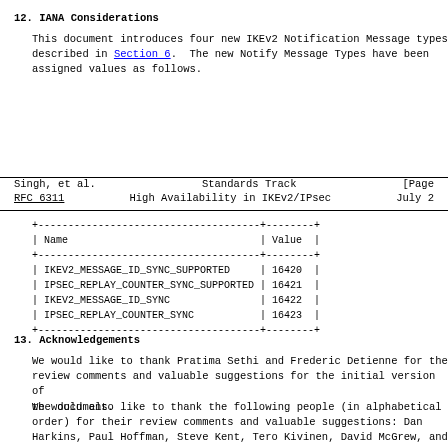12.  IANA Considerations
This document introduces four new IKEv2 Notification Message types described in Section 6.  The new Notify Message Types have been assigned values as follows.
Singh, et al.                Standards Track                    [Page
RFC 6311          High Availability in IKEv2/IPsec           July 2
| Name | Value |
| --- | --- |
| IKEV2_MESSAGE_ID_SYNC_SUPPORTED | 16420 |
| IPSEC_REPLAY_COUNTER_SYNC_SUPPORTED | 16421 |
| IKEV2_MESSAGE_ID_SYNC | 16422 |
| IPSEC_REPLAY_COUNTER_SYNC | 16423 |
13.  Acknowledgements
We would like to thank Pratima Sethi and Frederic Detienne for the review comments and valuable suggestions for the initial version of the document.
We would also like to thank the following people (in alphabetical order) for their review comments and valuable suggestions: Dan Harkins, Paul Hoffman, Steve Kent, Tero Kivinen, David McGrew, and